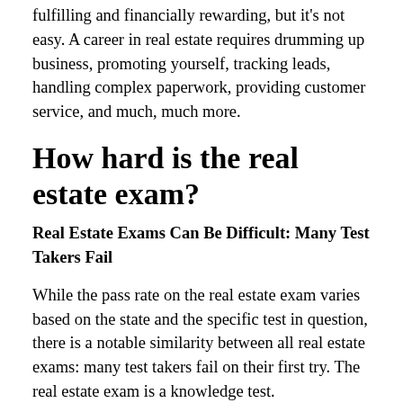fulfilling and financially rewarding, but it's not easy. A career in real estate requires drumming up business, promoting yourself, tracking leads, handling complex paperwork, providing customer service, and much, much more.
How hard is the real estate exam?
Real Estate Exams Can Be Difficult: Many Test Takers Fail
While the pass rate on the real estate exam varies based on the state and the specific test in question, there is a notable similarity between all real estate exams: many test takers fail on their first try. The real estate exam is a knowledge test.